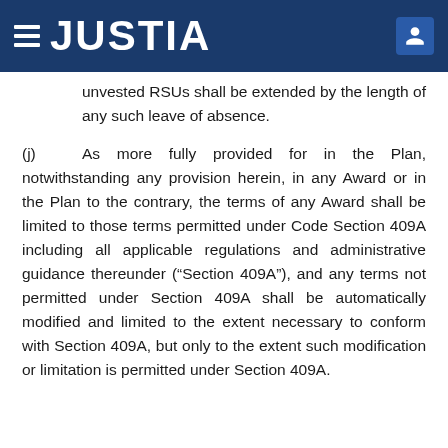JUSTIA
unvested RSUs shall be extended by the length of any such leave of absence.
(j) As more fully provided for in the Plan, notwithstanding any provision herein, in any Award or in the Plan to the contrary, the terms of any Award shall be limited to those terms permitted under Code Section 409A including all applicable regulations and administrative guidance thereunder (“Section 409A”), and any terms not permitted under Section 409A shall be automatically modified and limited to the extent necessary to conform with Section 409A, but only to the extent such modification or limitation is permitted under Section 409A.